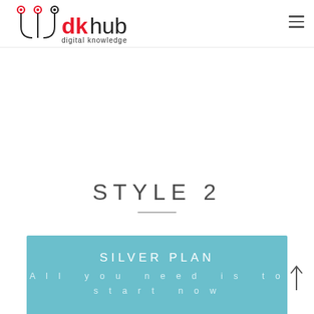[Figure (logo): dkhub digital knowledge hub logo with red circuit/pin icon and black text]
STYLE 2
SILVER PLAN
All you need is to start now